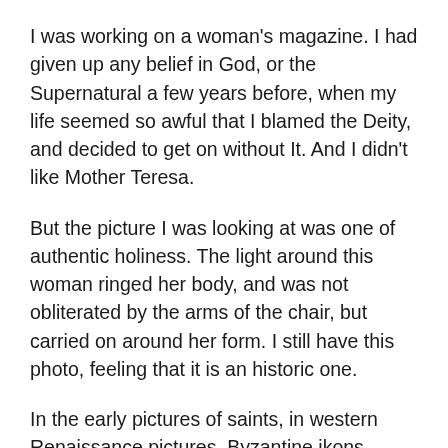I was working on a woman's magazine. I had given up any belief in God, or the Supernatural a few years before, when my life seemed so awful that I blamed the Deity, and decided to get on without It. And I didn't like Mother Teresa.
But the picture I was looking at was one of authentic holiness. The light around this woman ringed her body, and was not obliterated by the arms of the chair, but carried on around her form. I still have this photo, feeling that it is an historic one.
In the early pictures of saints, in western Renaissance pictures, Byzantine ikons, middle Eastern paintings, to Indian Jain and Hindu representations of holiness, artists have usually painted a halo around the head of a person. But this was a light which completely ringed Mother